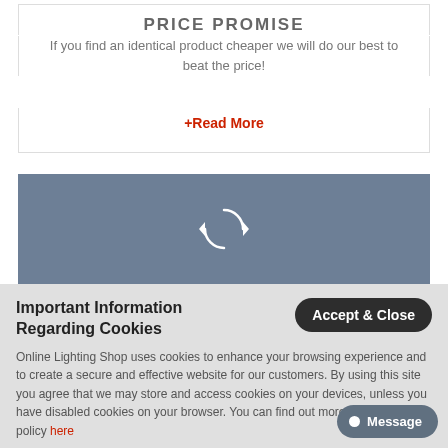PRICE PROMISE
If you find an identical product cheaper we will do our best to beat the price!
+Read More
[Figure (illustration): Blue-grey banner with a white circular refresh/sync icon in the center]
Important Information Regarding Cookies
Accept & Close
Online Lighting Shop uses cookies to enhance your browsing experience and to create a secure and effective website for our customers. By using this site you agree that we may store and access cookies on your devices, unless you have disabled cookies on your browser. You can find out more on our cookie policy here
Message